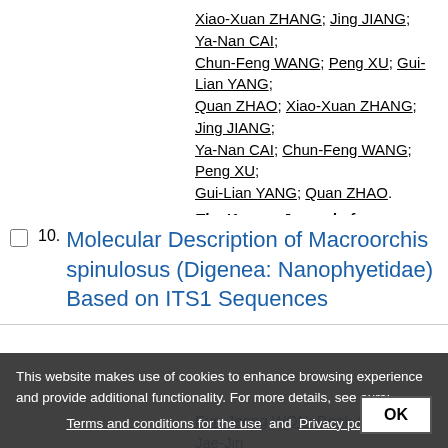Xiao-Xuan ZHANG; Jing JIANG; Ya-Nan CAI; Chun-Feng WANG; Peng XU; Gui-Lian YANG; Quan ZHAO; Xiao-Xuan ZHANG; Jing JIANG; Ya-Nan CAI; Chun-Feng WANG; Peng XU; Gui-Lian YANG; Quan ZHAO.
The Korean Journal of Parasitology ; : 81-85, 2016.
Article in English | WPRIM | ID: wpr-36478
Molecular Description of Macroorchis spinulosus (Digenea: Nanophyetidae) Based on ITS1 Sequences
Eun-Jeong WON; Deok-Gyu KIM; Jae-Jin WOOK KYANG; Eun-Jeong WON; Deok-Gyu KIM; Jaesin JAO; Bong-Kyong JUN; Cho...